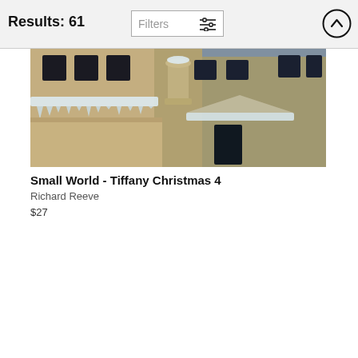Results: 61
Filters
[Figure (photo): Photograph of a snow-covered building exterior with classical architecture, showing windows, ledges with snow and icicles, taken in winter/Christmas setting.]
Small World - Tiffany Christmas 4
Richard Reeve
$27